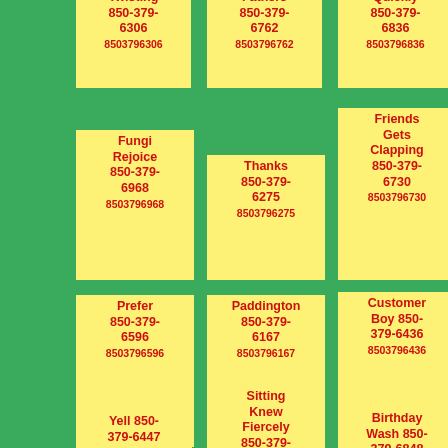Twisting 850-379-6306 8503796306
Fathers 850-379-6762 8503796762
Quickly 850-379-6836 8503796836
Fungi Rejoice 850-379-6968 8503796968
Thanks 850-379-6275 8503796275
Friends Gets Clapping 850-379-6730 8503796730
Prefer 850-379-6596 8503796596
Paddington 850-379-6167 8503796167
Customer Boy 850-379-6436 8503796436
Yell 850-379-6447
Sitting Knew Fiercely 850-379-6859
Birthday Wash 850-379-6848